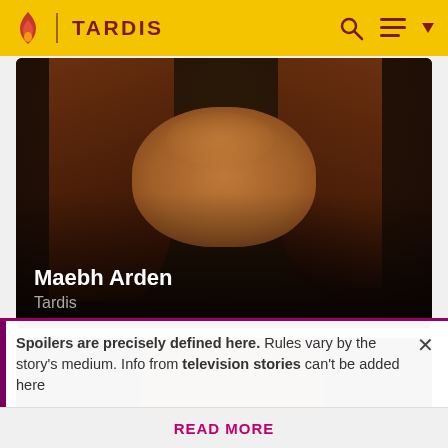TARDIS
[Figure (photo): Close-up photo of a young girl with long reddish-brown hair smiling, in a dark scene. Overlay text: 'Maebh Arden' and 'Tardis']
Maebh Arden
Tardis
[Figure (photo): Partial screenshot of a second video thumbnail showing figures in a dark indoor scene]
Spoilers are precisely defined here. Rules vary by the story's medium. Info from television stories can't be added here
READ MORE